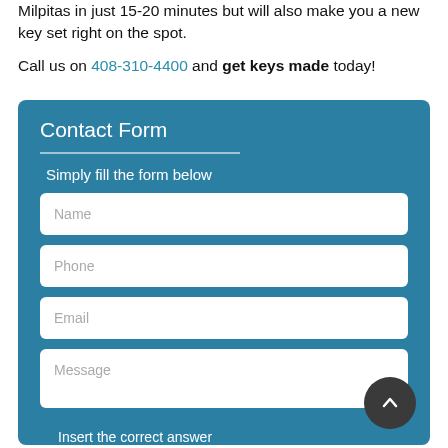Milpitas in just 15-20 minutes but will also make you a new key set right on the spot.
Call us on 408-310-4400 and get keys made today!
Contact Form
Simply fill the form below
Name
Phone
Email
Message
Insert the correct answer